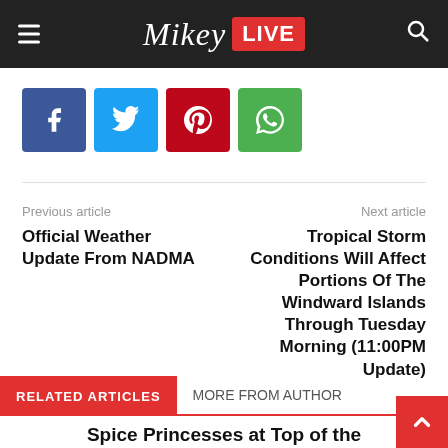Mikey LIVE
[Figure (other): Social share buttons: Facebook (blue), Twitter (cyan), Pinterest (red), WhatsApp (green)]
Previous article
Next article
Official Weather Update From NADMA
Tropical Storm Conditions Will Affect Portions Of The Windward Islands Through Tuesday Morning (11:00PM Update)
RELATED ARTICLES
MORE FROM AUTHOR
Spice Princesses at Top of the